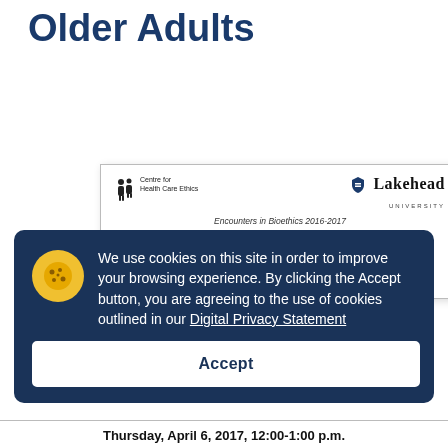Older Adults
[Figure (screenshot): Document card for 'Ethical Issues in Front-line Care Giving for Older Adults' - an Encounters in Bioethics 2016-2017 event, with Centre for Health Care Ethics and Lakehead University logos, subtitle 'An interdisciplinary panel discussion:']
We use cookies on this site in order to improve your browsing experience. By clicking the Accept button, you are agreeing to the use of cookies outlined in our Digital Privacy Statement
Accept
Thursday, April 6, 2017, 12:00-1:00 p.m.